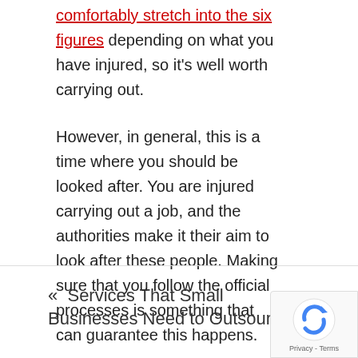comfortably stretch into the six figures depending on what you have injured, so it's well worth carrying out.
However, in general, this is a time where you should be looked after. You are injured carrying out a job, and the authorities make it their aim to look after these people. Making sure that you follow the official processes is something that can guarantee this happens.
« Services That Small Businesses Need to Outsource